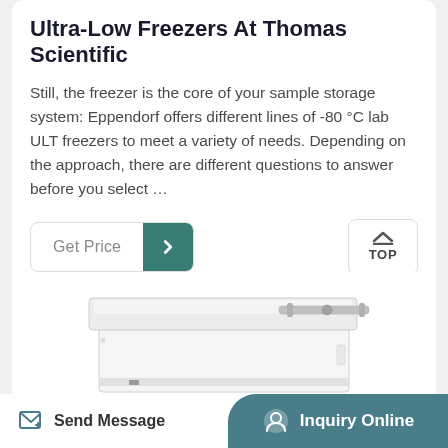Ultra-Low Freezers At Thomas Scientific
Still, the freezer is the core of your sample storage system: Eppendorf offers different lines of -80 °C lab ULT freezers to meet a variety of needs. Depending on the approach, there are different questions to answer before you select …
[Figure (screenshot): Get Price button with arrow and TOP navigation button]
[Figure (photo): White chest-style ultra-low freezer with silver latch handle on top]
Send Message   Inquiry Online